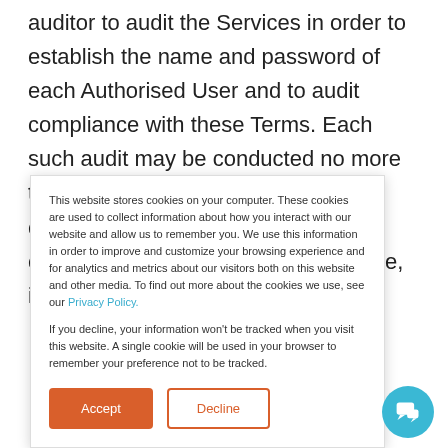auditor to audit the Services in order to establish the name and password of each Authorised User and to audit compliance with these Terms. Each such audit may be conducted no more than once per quarter, at WorkCast's expense, and this right shall be exercised with reasonable prior notice, in such a manner as not to
This website stores cookies on your computer. These cookies are used to collect information about how you interact with our website and allow us to remember you. We use this information in order to improve and customize your browsing experience and for analytics and metrics about our visitors both on this website and other media. To find out more about the cookies we use, see our Privacy Policy.

If you decline, your information won't be tracked when you visit this website. A single cookie will be used in your browser to remember your preference not to be tracked.